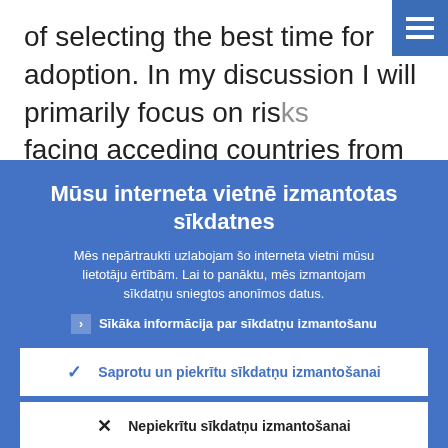of selecting the best time for adoption. In my discussion I will primarily focus on risks facing acceding countries from a premature adoption, i.e. the adoption of the euro by a...
Mūsu interneta vietnē izmantotas sīkdatnes
Mēs nepārtraukti uzlabojam šo interneta vietni mūsu lietotāju ērtībām. Lai to panāktu, mēs izmantojam sīkdatņu sniegtos anonīmos datus.
› Sīkāka informācija par sīkdatņu izmantošanu
✓ Saprotu un piekrītu sīkdatņu izmantošanai
✕ Nepiekrītu sīkdatņu izmantošanai